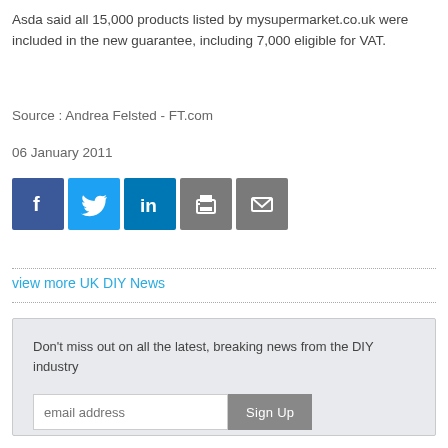Asda said all 15,000 products listed by mysupermarket.co.uk were included in the new guarantee, including 7,000 eligible for VAT.
Source : Andrea Felsted - FT.com
06 January 2011
[Figure (other): Social sharing buttons: Facebook, Twitter, LinkedIn, Print, Email]
view more UK DIY News
Don't miss out on all the latest, breaking news from the DIY industry